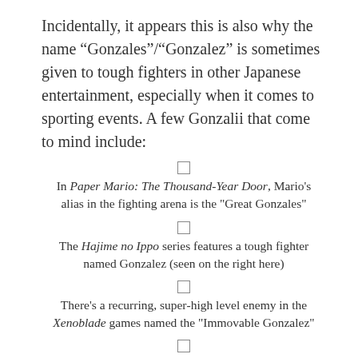Incidentally, it appears this is also why the name “Gonzales”/“Gonzalez” is sometimes given to tough fighters in other Japanese entertainment, especially when it comes to sporting events. A few Gonzalii that come to mind include:
In Paper Mario: The Thousand-Year Door, Mario's alias in the fighting arena is the "Great Gonzales"
The Hajime no Ippo series features a tough fighter named Gonzalez (seen on the right here)
There's a recurring, super-high level enemy in the Xenoblade games named the "Immovable Gonzalez"
Piramekino features a character named Poly Gonzalez who's also a tough boxer.